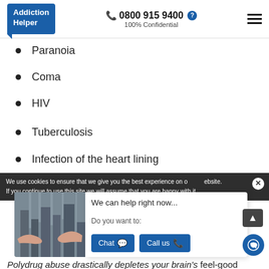Addiction Helper | 0800 915 9400 | 100% Confidential
Paranoia
Coma
HIV
Tuberculosis
Infection of the heart lining
We use cookies to ensure that we give you the best experience on our website. If you continue to use this site we will assume that you are happy with it.
[Figure (photo): Two hands reaching toward each other against a blurred cityscape background]
We can help right now...
Do you want to:
Chat | Call us
Polydrug abuse drastically depletes your brain's feel-good chemicals, and this can lead to